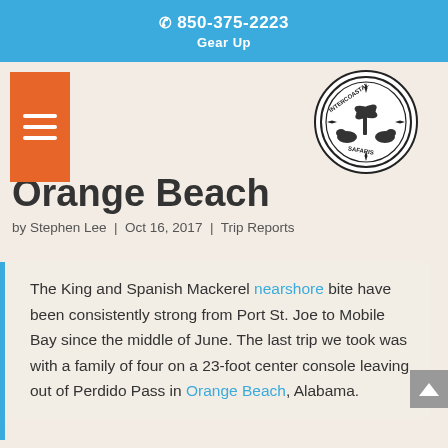850-375-2223 | Gear Up
[Figure (logo): Intercoastal Safaris circular logo with palm tree and animal imagery]
Orange Beach
by Stephen Lee | Oct 16, 2017 | Trip Reports
The King and Spanish Mackerel nearshore bite have been consistently strong from Port St. Joe to Mobile Bay since the middle of June. The last trip we took was with a family of four on a 23-foot center console leaving out of Perdido Pass in Orange Beach, Alabama.
King and Spanish Mackerel: Summer Storms, Bites off the Beaches